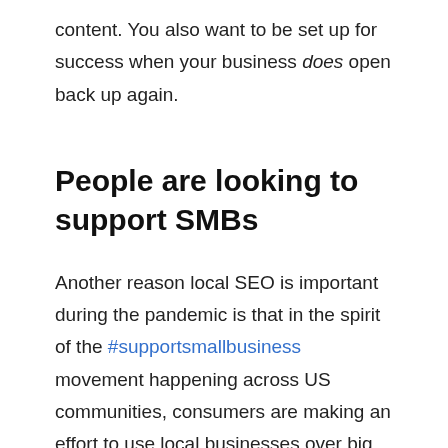content. You also want to be set up for success when your business does open back up again.
People are looking to support SMBs
Another reason local SEO is important during the pandemic is that in the spirit of the #supportsmallbusiness movement happening across US communities, consumers are making an effort to use local businesses over big brands. Your SEO strategy will connect you with people looking for local businesses to support.
SEO gives SMBs a competitive